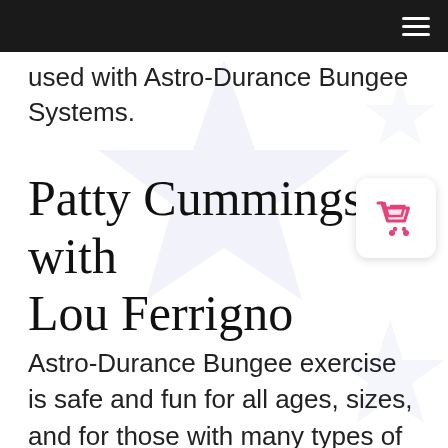Navigation bar with hamburger menu
used with Astro-Durance Bungee Systems.
Patty Cummings with Lou Ferrigno
Astro-Durance Bungee exercise is safe and fun for all ages, sizes, and for those with many types of physical limitations.